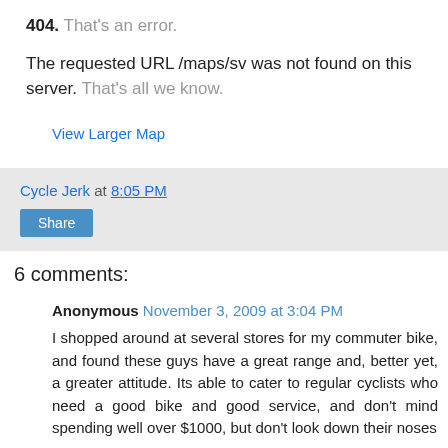404. That's an error.
The requested URL /maps/sv was not found on this server. That's all we know.
View Larger Map
Cycle Jerk at 8:05 PM
Share
6 comments:
Anonymous November 3, 2009 at 3:04 PM
I shopped around at several stores for my commuter bike, and found these guys have a great range and, better yet, a greater attitude. Its able to cater to regular cyclists who need a good bike and good service, and don't mind spending well over $1000, but don't look down their noses